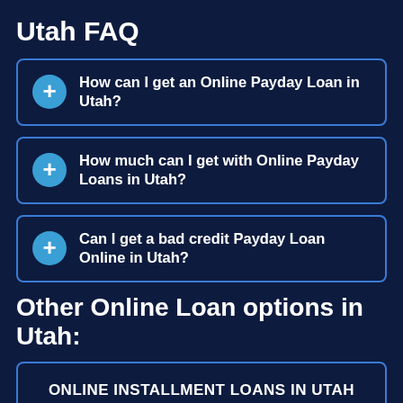Utah FAQ
How can I get an Online Payday Loan in Utah?
How much can I get with Online Payday Loans in Utah?
Can I get a bad credit Payday Loan Online in Utah?
Other Online Loan options in Utah:
ONLINE INSTALLMENT LOANS IN UTAH